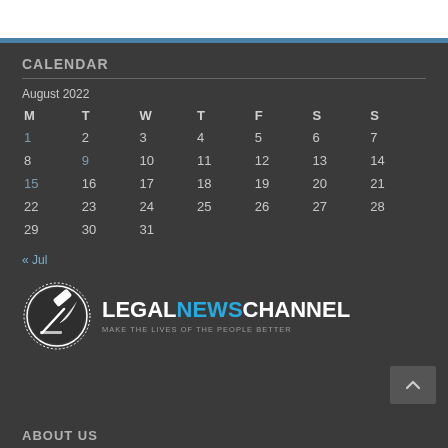CALENDAR
| M | T | W | T | F | S | S |
| --- | --- | --- | --- | --- | --- | --- |
| 1 | 2 | 3 | 4 | 5 | 6 | 7 |
| 8 | 9 | 10 | 11 | 12 | 13 | 14 |
| 15 | 16 | 17 | 18 | 19 | 20 | 21 |
| 22 | 23 | 24 | 25 | 26 | 27 | 28 |
| 29 | 30 | 31 |  |  |  |  |
« Jul
[Figure (logo): Legal News Channel logo — circular emblem with gavel and quill, white on dark background. Text: LEGALNEWSCHANNEL / MAKE THE LIVES OF THE PEOPLE BETTER]